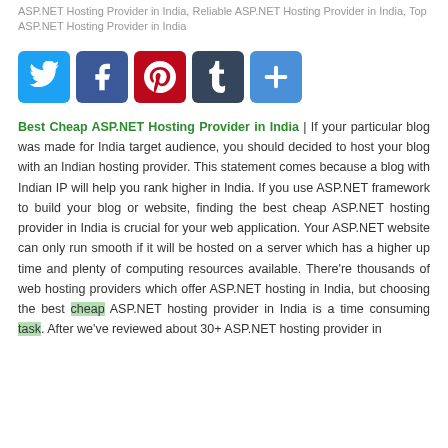ASP.NET Hosting Provider in India, Reliable ASP.NET Hosting Provider in India, Top ASP.NET Hosting Provider in India
[Figure (infographic): Social media sharing icons: Twitter (blue), Facebook (blue), Pinterest (red), Tumblr (dark), Share/Plus (blue)]
Best Cheap ASP.NET Hosting Provider in India | If your particular blog was made for India target audience, you should decided to host your blog with an Indian hosting provider. This statement comes because a blog with Indian IP will help you rank higher in India. If you use ASP.NET framework to build your blog or website, finding the best cheap ASP.NET hosting provider in India is crucial for your web application. Your ASP.NET website can only run smooth if it will be hosted on a server which has a higher up time and plenty of computing resources available. There're thousands of web hosting providers which offer ASP.NET hosting in India, but choosing the best cheap ASP.NET hosting provider in India is a time consuming task. After we've reviewed about 30+ ASP.NET hosting provider in